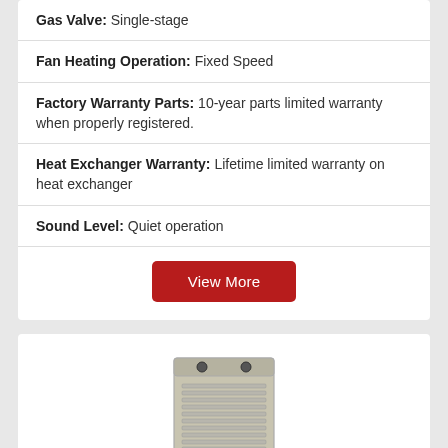Gas Valve: Single-stage
Fan Heating Operation: Fixed Speed
Factory Warranty Parts: 10-year parts limited warranty when properly registered.
Heat Exchanger Warranty: Lifetime limited warranty on heat exchanger
Sound Level: Quiet operation
View More
[Figure (photo): A metallic furnace/HVAC unit, beige/silver colored, rectangular box shape with vents on the front.]